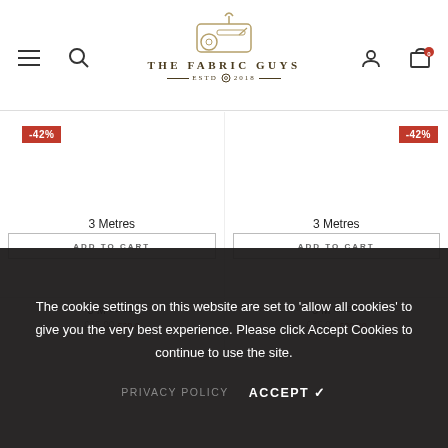[Figure (logo): The Fabric Guys logo with sewing machine icon, ESTD 2018]
[Figure (infographic): Product listing with -42% discount badge, 3 Metres label, ADD TO CART button, prices £35.00 £20.00 (left column)]
[Figure (infographic): Product listing with -42% discount badge, 3 Metres label, ADD TO CART button, prices £35.00 £20.00 (right column)]
The cookie settings on this website are set to 'allow all cookies' to give you the very best experience. Please click Accept Cookies to continue to use the site.
PRIVACY POLICY   ACCEPT ✓